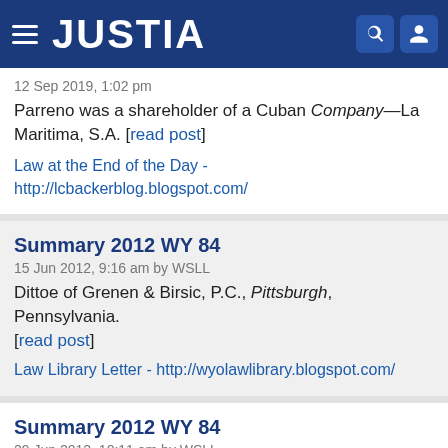JUSTIA
12 Sep 2019, 1:02 pm
Parreno was a shareholder of a Cuban Company—La Maritima, S.A. [read post]
Law at the End of the Day - http://lcbackerblog.blogspot.com/
Summary 2012 WY 84
15 Jun 2012, 9:16 am by WSLL
Dittoe of Grenen & Birsic, P.C., Pittsburgh, Pennsylvania. [read post]
Law Library Letter - http://wyolawlibrary.blogspot.com/
Summary 2012 WY 84
29 Jun 2012, 10:11 am by WSLL